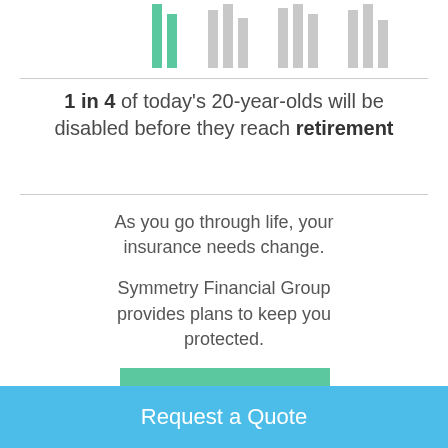[Figure (infographic): Top portion of a bar-chart style infographic showing vertical bars in green and gray representing people, with 1 in 4 highlighted in green]
1 in 4 of today's 20-year-olds will be disabled before they reach retirement
As you go through life, your insurance needs change.
Symmetry Financial Group provides plans to keep you protected.
[Figure (other): Green button with text 'View the Timeline']
Request a Quote